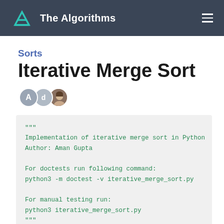The Algorithms
Sorts
Iterative Merge Sort
[Figure (other): Three contributor avatars: A, d, and a photo avatar]
"""
Implementation of iterative merge sort in Python
Author: Aman Gupta

For doctests run following command:
python3 -m doctest -v iterative_merge_sort.py

For manual testing run:
python3 iterative_merge_sort.py
"""